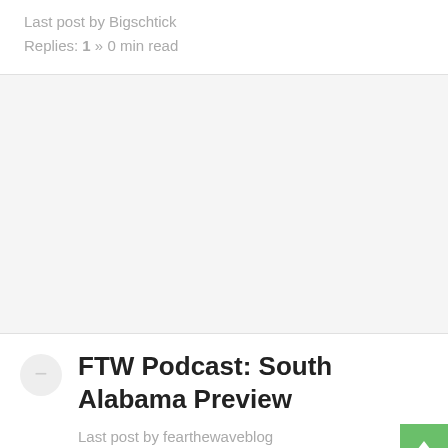Last post by Bigschtick
Replies: 1 » 0 min read
[Figure (other): Gray advertisement or empty content block]
FTW Podcast: South Alabama Preview
Last post by fearthewaveblog » 0 min read